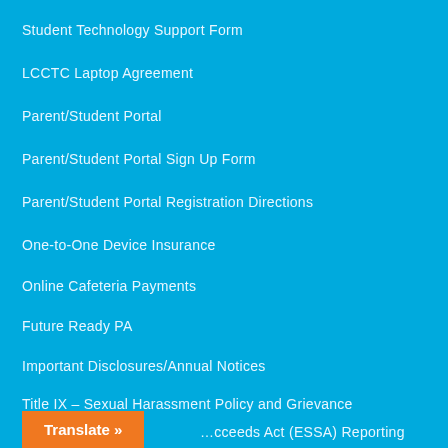Student Technology Support Form
LCCTC Laptop Agreement
Parent/Student Portal
Parent/Student Portal Sign Up Form
Parent/Student Portal Registration Directions
One-to-One Device Insurance
Online Cafeteria Payments
Future Ready PA
Important Disclosures/Annual Notices
Title IX – Sexual Harassment Policy and Grievance Procedures
…cceeds Act (ESSA) Reporting